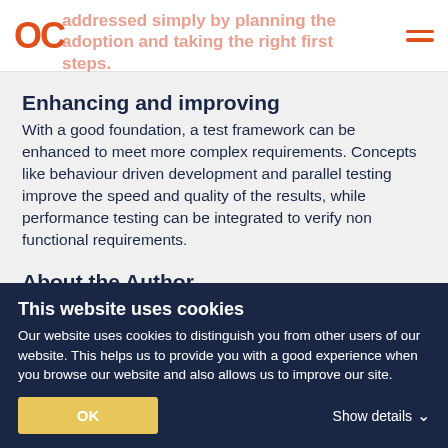addressed simply by planning the adoption and taking the right first steps.
Enhancing and improving
With a good foundation, a test framework can be enhanced to meet more complex requirements. Concepts like behaviour driven development and parallel testing improve the speed and quality of the results, while performance testing can be integrated to verify non functional requirements.
About the Author
Tristan McCarthy is test practice lead for OpenCredo with substantial experience of ensuring the delivery of high
This website uses cookies
Our website uses cookies to distinguish you from other users of our website. This helps us to provide you with a good experience when you browse our website and also allows us to improve our site.
OK
Show details